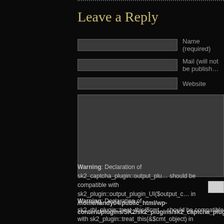Leave a Reply
Warning: Declaration of sk2_captcha_plugin::output_plugin_UI() should be compatible with sk2_plugin::output_plugin_UI($output_context) in /home/randy04/public_html/wp-content/plugins/SK2/sk2_plugins/sk2_captcha_plug…
Warning: Declaration of sk2_rbl_plugin::treat_this($cmt) should be compatible with sk2_plugin::treat_this(&$cmt_object) in /home/randy04/public_html/wp-